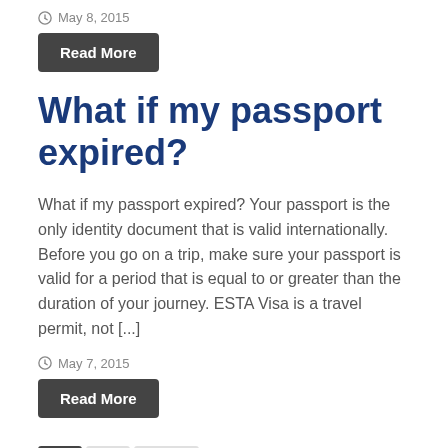May 8, 2015
Read More
What if my passport expired?
What if my passport expired? Your passport is the only identity document that is valid internationally. Before you go on a trip, make sure your passport is valid for a period that is equal to or greater than the duration of your journey. ESTA Visa is a travel permit, not [...]
May 7, 2015
Read More
1  2  Next